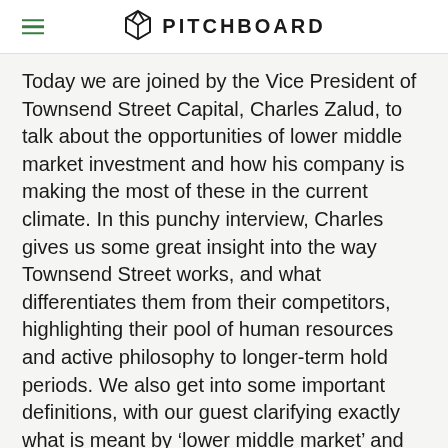PITCHBOARD
Today we are joined by the Vice President of Townsend Street Capital, Charles Zalud, to talk about the opportunities of lower middle market investment and how his company is making the most of these in the current climate. In this punchy interview, Charles gives us some great insight into the way Townsend Street works, and what differentiates them from their competitors, highlighting their pool of human resources and active philosophy to longer-term hold periods. We also get into some important definitions, with our guest clarifying exactly what is meant by ‘lower middle market’ and ‘committed capital’ in the context of his business. We cover the changes we